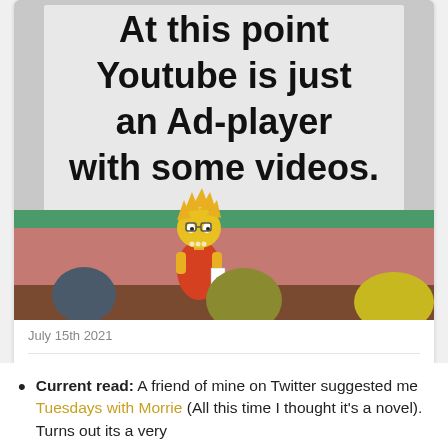[Figure (illustration): A Simpsons meme showing Lisa Simpson standing at a podium or lectern in a classroom setting. Text above reads 'At this point Youtube is just an Ad-player with some videos.' Lisa is shown in her red dress standing in front of a chalkboard.]
July 15th 2021
4 Retweets  117 Likes
Current read: A friend of mine on Twitter suggested me Tuesdays with Morrie (All this time I thought it's a novel). Turns out its a very